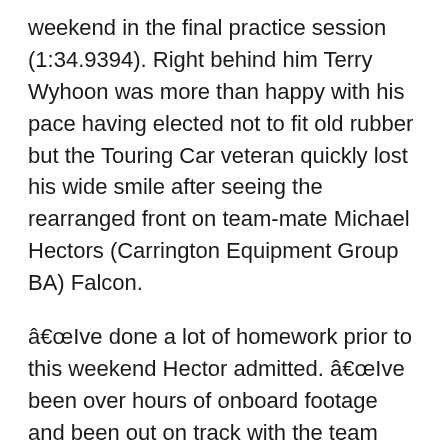weekend in the final practice session (1:34.9394). Right behind him Terry Wyhoon was more than happy with his pace having elected not to fit old rubber but the Touring Car veteran quickly lost his wide smile after seeing the rearranged front on team-mate Michael Hectors (Carrington Equipment Group BA) Falcon.
â€œIve done a lot of homework prior to this weekend Hector admitted. â€œIve been over hours of onboard footage and been out on track with the team from V8 Race Experience to learn some lines and my goal for the weekend is to make Time Attack – sadly thats now not going to happen.
On another hot lap – whilst holding down position eight at the time – Hector just ran a wheel off onto the lip of the ripple strip on his run onto the front straight. â€œI did roughly the same thing the lap before he admitted â€œand it was fine so I didnt expect to get